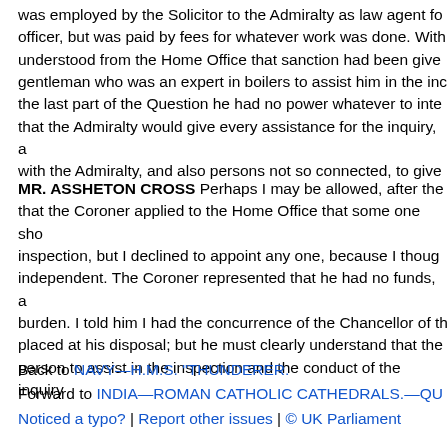was employed by the Solicitor to the Admiralty as law agent fo officer, but was paid by fees for whatever work was done. With understood from the Home Office that sanction had been give gentleman who was an expert in boilers to assist him in the in the last part of the Question he had no power whatever to inte that the Admiralty would give every assistance for the inquiry, with the Admiralty, and also persons not so connected, to give
MR. ASSHETON CROSS Perhaps I may be allowed, after the that the Coroner applied to the Home Office that some one sh inspection, but I declined to appoint any one, because I thou independent. The Coroner represented that he had no funds, burden. I told him I had the concurrence of the Chancellor of placed at his disposal; but he must clearly understand that t person to assist in the inspection and the conduct of the inqu
Back to NAVY—H.M.S. "THUNDERER.
Forward to INDIA—ROMAN CATHOLIC CATHEDRALS.—QU
Noticed a typo? | Report other issues | © UK Parliament